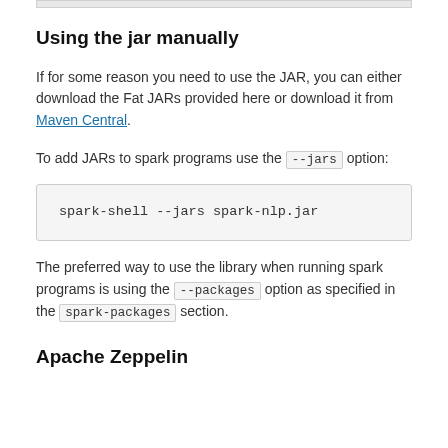Using the jar manually
If for some reason you need to use the JAR, you can either download the Fat JARs provided here or download it from Maven Central.
To add JARs to spark programs use the --jars option:
spark-shell --jars spark-nlp.jar
The preferred way to use the library when running spark programs is using the --packages option as specified in the spark-packages section.
Apache Zeppelin